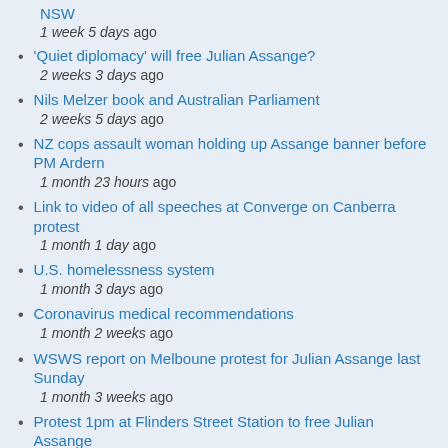NSW
1 week 5 days ago
'Quiet diplomacy' will free Julian Assange?
2 weeks 3 days ago
Nils Melzer book and Australian Parliament
2 weeks 5 days ago
NZ cops assault woman holding up Assange banner before PM Ardern
1 month 23 hours ago
Link to video of all speeches at Converge on Canberra protest
1 month 1 day ago
U.S. homelessness system
1 month 3 days ago
Coronavirus medical recommendations
1 month 2 weeks ago
WSWS report on Melboune protest for Julian Assange last Sunday
1 month 3 weeks ago
Protest 1pm at Flinders Street Station to free Julian Assange
1 month 3 weeks ago